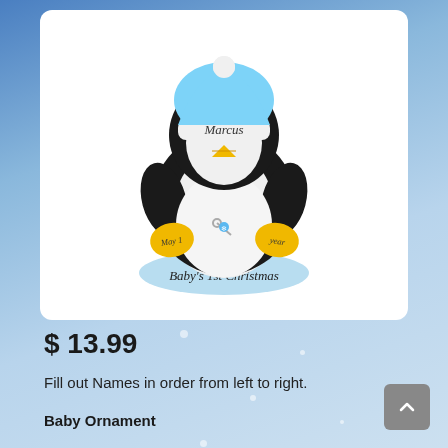[Figure (photo): A personalized baby penguin Christmas ornament wearing a blue hat with the name 'Marcus' written on it, holding yellow mittens labeled 'May 1' and 'year', with 'Baby's 1st Christmas' written on the base. The penguin wears a white onesie with a diaper pin.]
$ 13.99
Fill out Names in order from left to right.
Baby Ornament